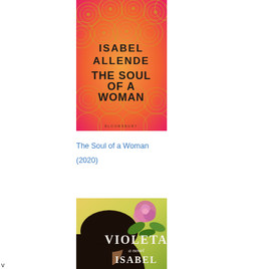[Figure (illustration): Book cover of 'The Soul of a Woman' by Isabel Allende, published by Bloomsbury. Orange/pink background with golden circular spiral patterns. Black bold text reads: ISABEL ALLENDE THE SOUL OF A WOMAN.]
The Soul of a Woman (2020)
[Figure (illustration): Book cover of 'Violeta' a novel by Isabel Allende. Shows a woman's profile with dark hair and a pink rose and green leaves in the background on a yellow/green background.]
v